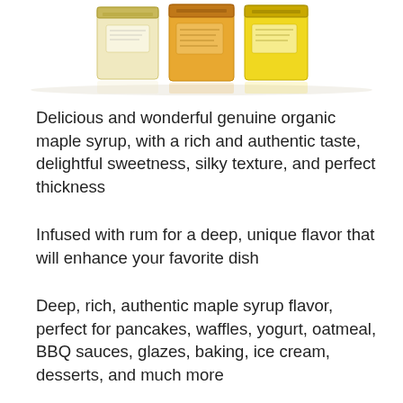[Figure (photo): Three bottles/jars of maple syrup in varying shades from light golden to amber yellow, viewed from above at a slight angle, showing lids and labels, set against a white background with reflections.]
Delicious and wonderful genuine organic maple syrup, with a rich and authentic taste, delightful sweetness, silky texture, and perfect thickness
Infused with rum for a deep, unique flavor that will enhance your favorite dish
Deep, rich, authentic maple syrup flavor, perfect for pancakes, waffles, yogurt, oatmeal, BBQ sauces, glazes, baking, ice cream, desserts, and much more
Genuine and natural maple syrup from Canadian,